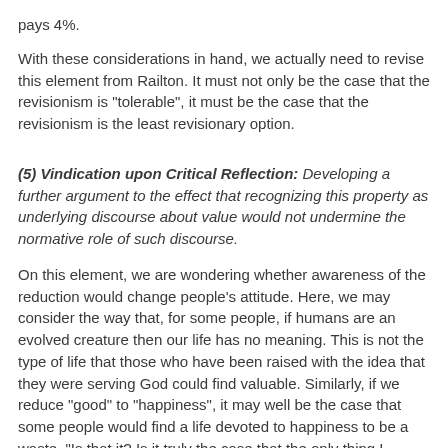pays 4%.
With these considerations in hand, we actually need to revise this element from Railton. It must not only be the case that the revisionism is "tolerable", it must be the case that the revisionism is the least revisionary option.
(5) Vindication upon Critical Reflection: Developing a further argument to the effect that recognizing this property as underlying discourse about value would not undermine the normative role of such discourse.
On this element, we are wondering whether awareness of the reduction would change people's attitude. Here, we may consider the way that, for some people, if humans are an evolved creature then our life has no meaning. This is not the type of life that those who have been raised with the idea that they were serving God could find valuable. Similarly, if we reduce "good" to "happiness", it may well be the case that some people would find a life devoted to happiness to be a waste. "Is that it? Is it truly the case that the only thing I